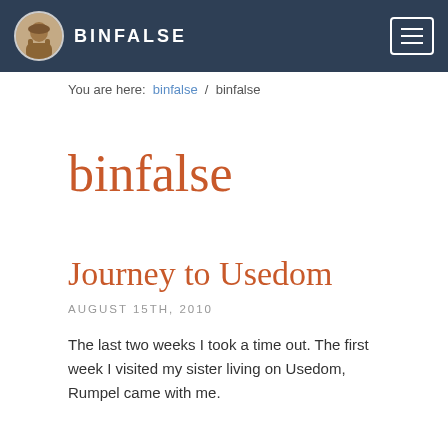BINFALSE
You are here: binfalse / binfalse
binfalse
Journey to Usedom
AUGUST 15TH, 2010
The last two weeks I took a time out. The first week I visited my sister living on Usedom, Rumpel came with me.